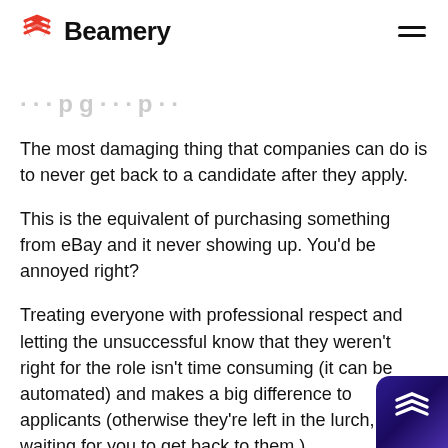Beamery
...paging apply.
The most damaging thing that companies can do is to never get back to a candidate after they apply.
This is the equivalent of purchasing something from eBay and it never showing up. You'd be annoyed right?
Treating everyone with professional respect and letting the unsuccessful know that they weren't right for the role isn't time consuming (it can be automated) and makes a big difference to applicants (otherwise they're left in the lurch, waiting for you to get back to them.)